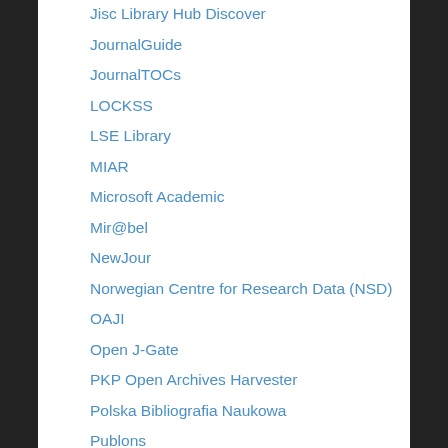Jisc Library Hub Discover
JournalGuide
JournalTOCs
LOCKSS
LSE Library
MIAR
Microsoft Academic
Mir@bel
NewJour
Norwegian Centre for Research Data (NSD)
OAJI
Open J-Gate
PKP Open Archives Harvester
Polska Bibliografia Naukowa
Publons
Qualis/CAPES
ResearchGate
ROAD